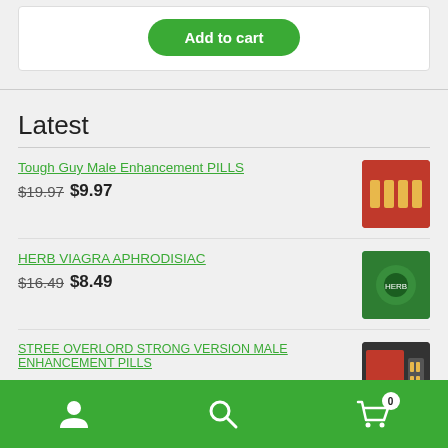[Figure (other): Add to cart button inside a white card]
Latest
Tough Guy Male Enhancement PILLS — $19.97 $9.97
HERB VIAGRA APHRODISIAC — $16.49 $8.49
STREE OVERLORD STRONG VERSION MALE ENHANCEMENT PILLS
[Figure (other): Bottom navigation bar with person icon, search icon, and cart icon with badge 0]